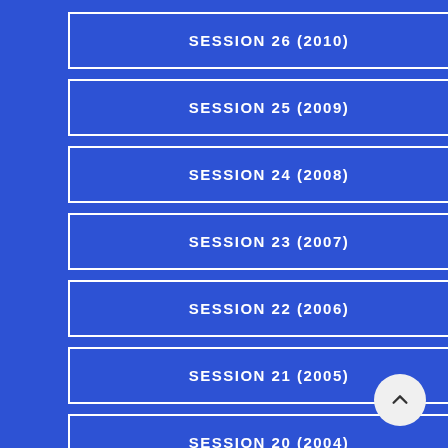SESSION 26 (2010)
SESSION 25 (2009)
SESSION 24 (2008)
SESSION 23 (2007)
SESSION 22 (2006)
SESSION 21 (2005)
SESSION 20 (2004)
SESSION 19 (2003)
[Figure (other): Back to top arrow button (chevron up icon in a circular white button)]